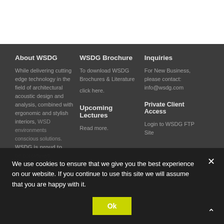About WSDG
While delivering cutting edge technology in the field of architectural acoustic design and analysis, combined with ergonomic and stylish interiors, WSDG provides environmentally conscious solutions. WSDG is proud to be considered
WSDG Brochure
To download WSDG Brochures & Literature
click here.
Upcoming Lectures
Read more.
Inquiries
For New Business, please contact: info@wsdg.com
Private Client Access
Login to WSDG FTP Site
We use cookies to ensure that we give you the best experience on our website. If you continue to use this site we will assume that you are happy with it.
Ok